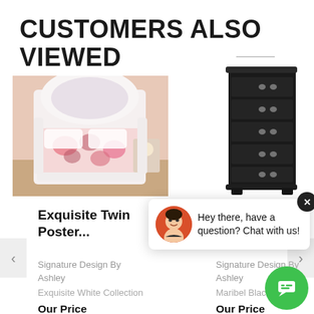CUSTOMERS ALSO VIEWED
[Figure (photo): White ornate twin poster bed with pink floral bedding in a pink room]
[Figure (photo): Dark espresso/black tall 5-drawer chest dresser]
Exquisite Twin Poster...
Signature Design By Ashley
Exquisite White Collection
Our Price
Signature Design By Ashley
Maribel Black Coll...
Our Price
[Figure (screenshot): Chat widget overlay with avatar and message: Hey there, have a question? Chat with us!]